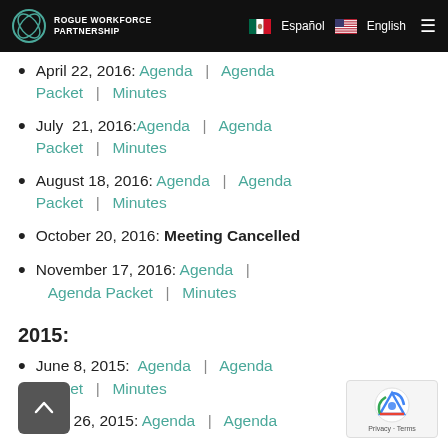Rogue Workforce Partnership | Español | English
April 22, 2016: Agenda | Agenda Packet | Minutes
July 21, 2016: Agenda | Agenda Packet | Minutes
August 18, 2016: Agenda | Agenda Packet | Minutes
October 20, 2016: Meeting Cancelled
November 17, 2016: Agenda | Agenda Packet | Minutes
2015:
June 8, 2015: Agenda | Agenda Packet | Minutes
June 26, 2015: Agenda | Agenda Packet